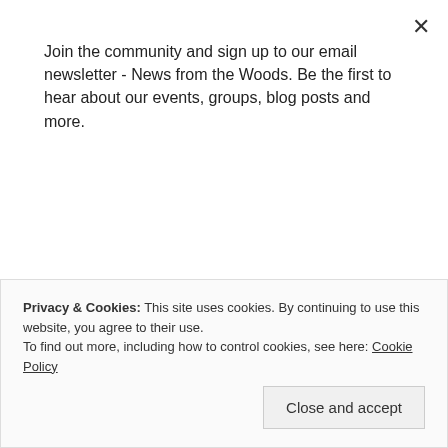Join the community and sign up to our email newsletter - News from the Woods. Be the first to hear about our events, groups, blog posts and more.
Subscribe
number 12)
1–2 adults to stay
party food optional
Venues
Privacy & Cookies: This site uses cookies. By continuing to use this website, you agree to their use.
To find out more, including how to control cookies, see here: Cookie Policy
Close and accept